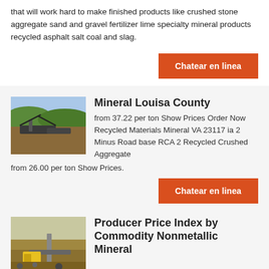that will work hard to make finished products like crushed stone aggregate sand and gravel fertilizer lime specialty mineral products recycled asphalt salt coal and slag.
Chatear en linea
Mineral Louisa County
[Figure (photo): Mining equipment at a quarry/aggregate site with hills in background]
from 37.22 per ton Show Prices Order Now Recycled Materials Mineral VA 23117 ia 2 Minus Road base RCA 2 Recycled Crushed Aggregate from 26.00 per ton Show Prices.
Chatear en linea
Producer Price Index by Commodity Nonmetallic Mineral
[Figure (photo): Quarry or mining operation with machinery and yellow equipment]
Nov 09 2021  Graph and download economic data for Producer Price Index by Commodity Nonmetallic Mineral Products Construction Sand Gravel and Crushed Stone WPS1321 from Jan 1973 to Oct 2021 about nonmetallic minerals construction commodities PPI inflation price index price indexes and USA.